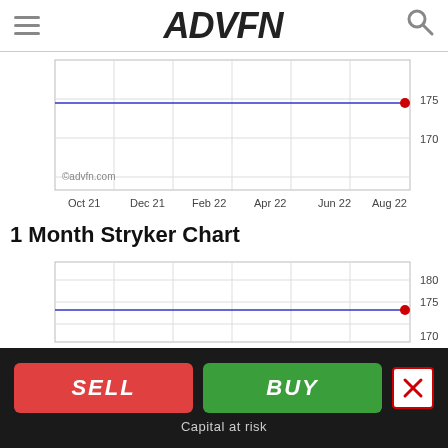ADVFN
[Figure (line-chart): Stryker 1 Year Chart]
1 Month Stryker Chart
[Figure (line-chart): Stryker 1 Month Chart]
SELL
BUY
Capital at risk